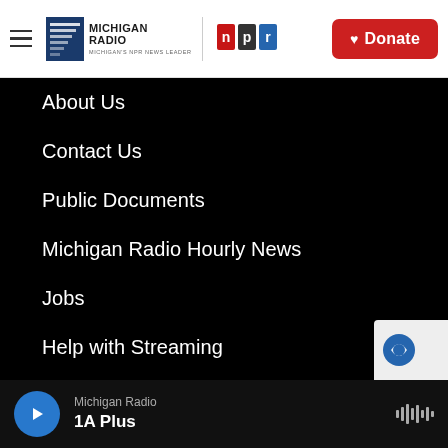[Figure (logo): Michigan Radio NPR logo with hamburger menu and Donate button header]
About Us
Contact Us
Public Documents
Michigan Radio Hourly News
Jobs
Help with Streaming
Contest Rules
Events
Michigan Radio
1A Plus